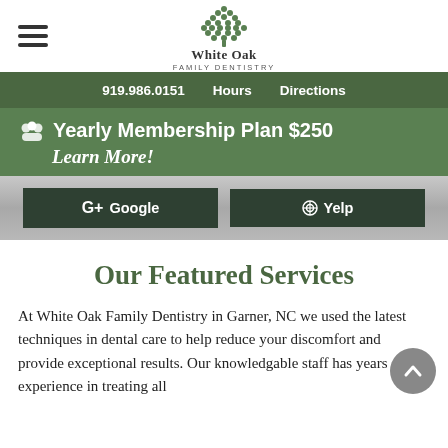White Oak Family Dentistry
919.986.0151  Hours  Directions
Yearly Membership Plan $250 Learn More!
[Figure (screenshot): Google and Yelp review buttons on dark green background]
Our Featured Services
At White Oak Family Dentistry in Garner, NC we used the latest techniques in dental care to help reduce your discomfort and provide exceptional results. Our knowledgable staff has years of experience in treating all